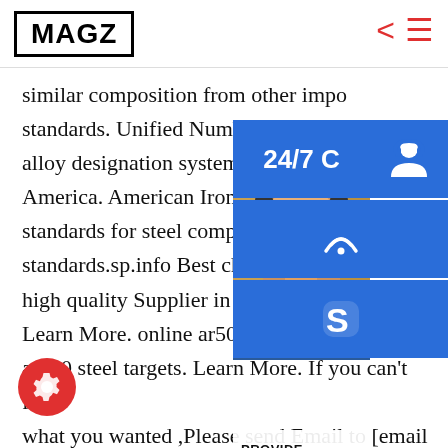MAGZ
similar composition from other import standards. Unified Numbering System alloy designation system widely accepted in America. American Iron and Steel Institute standards for steel compositions. European standards.sp.info Best china factory high quality Supplier in Chinas31700 Learn More. online ar500 target select ar500 steel targets. Learn More. If you can't find what you wanted ,Please send Email to [email protected], May Be we can provide some useful information. Send Message. Send Message.sp.info tipped pcbn inserts in 90 degree square shape S for
[Figure (screenshot): Customer service overlay panel with 24/7 badge, headset icon, phone icon, Skype icon, a photo of a woman with headset, PROVIDE Empowering Customers banner, and online live button]